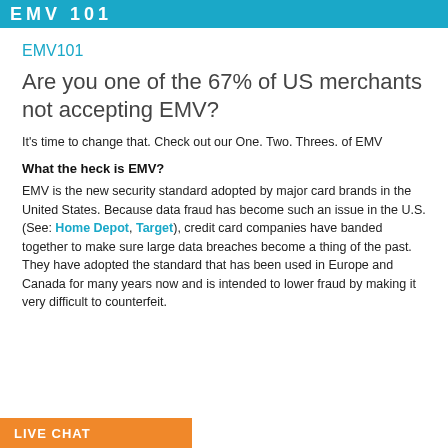EMV 101
EMV101
Are you one of the 67% of US merchants not accepting EMV?
It's time to change that. Check out our One. Two. Threes. of EMV
What the heck is EMV?
EMV is the new security standard adopted by major card brands in the United States. Because data fraud has become such an issue in the U.S. (See: Home Depot, Target), credit card companies have banded together to make sure large data breaches become a thing of the past. They have adopted the standard that has been used in Europe and Canada for many years now and is intended to lower fraud by making it very difficult to counterfeit.
LIVE CHAT